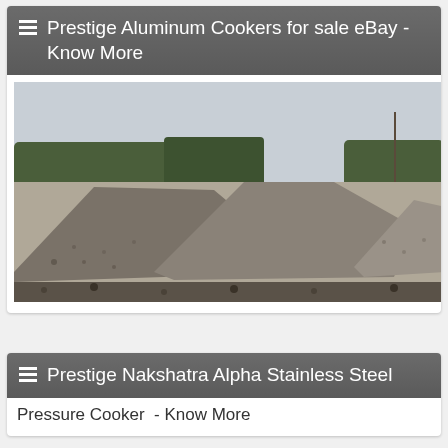Prestige Aluminum Cookers for sale eBay - Know More
[Figure (photo): Outdoor gravel yard with mounds of crushed stone/gravel in foreground, trees in background, overcast sky]
Prestige Nakshatra Alpha Stainless Steel Pressure Cooker - Know More